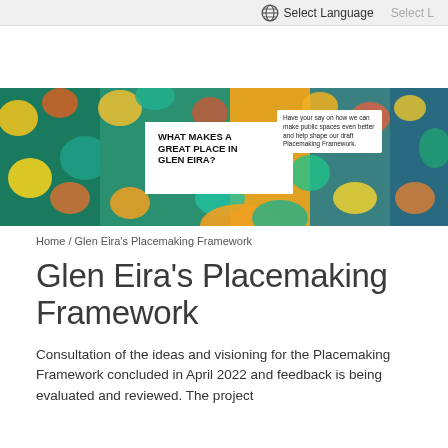Select Language  Select L
[Figure (illustration): Colorful banner image for Glen Eira Placemaking Framework with text 'WHAT MAKES A GREAT PLACE IN GLEN EIRA?' and callout 'Have your say on how we can make public spaces even better and help shape our draft Placemaking Framework.' with colorful blob shapes in teal, orange, yellow, and photos of community spaces.]
Home / Glen Eira's Placemaking Framework
Glen Eira's Placemaking Framework
Consultation of the ideas and visioning for the Placemaking Framework concluded in April 2022 and feedback is being evaluated and reviewed. The project